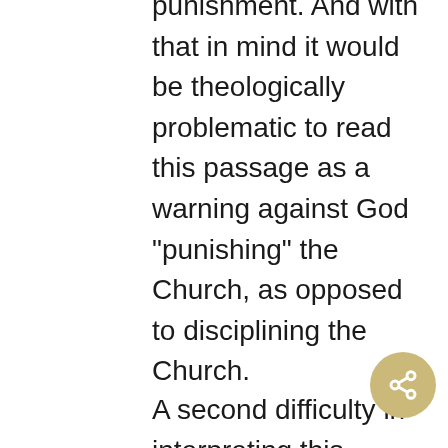punishment. And with that in mind it would be theologically problematic to read this passage as a warning against God “punishing” the Church, as opposed to disciplining the Church.
A second difficulty in interpreting this passage is how the Church’s identity as the Body of Christ plays in. On the one hand, the Church is composed of millions of fallen individuals, so churches make mistakes all the time that warrant discipline. But on the other hand we must be wary of referring to the Church as being itself fallen. The